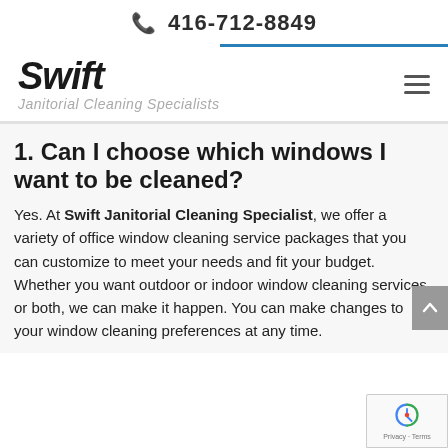📞 416-712-8849
[Figure (logo): Swift Janitorial Cleaning Specialists logo with bold italic text and tagline]
1. Can I choose which windows I want to be cleaned?
Yes. At Swift Janitorial Cleaning Specialist, we offer a variety of office window cleaning service packages that you can customize to meet your needs and fit your budget. Whether you want outdoor or indoor window cleaning services or both, we can make it happen. You can make changes to your window cleaning preferences at any time.